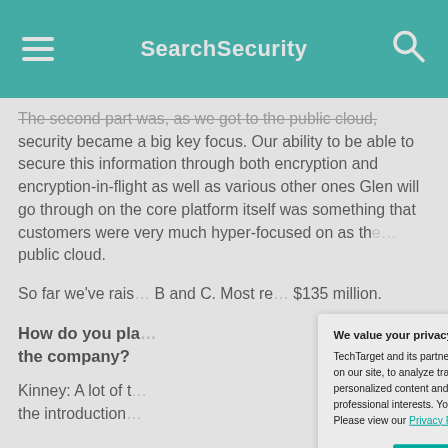SearchSecurity
The second part was, as we got to the public cloud, security became a big key focus. Our ability to be able to secure this information through both encryption and encryption-in-flight as well as various other ones Glen will go through on the core platform itself was something that customers were very much hyper-focused on as they moved to the public cloud.
So far we've raised [partially obscured] B and C. Most re[partially obscured] $135 million.
How do you pla[partially obscured] the company?
Kinney: A lot of t[partially obscured] the introduction[partially obscured]
We value your privacy. TechTarget and its partners employ cookies to improve your experience on our site, to analyze traffic and performance, and to serve personalized content and advertising that are relevant to your professional interests. You can manage your settings at any time. Please view our Privacy Policy for more information